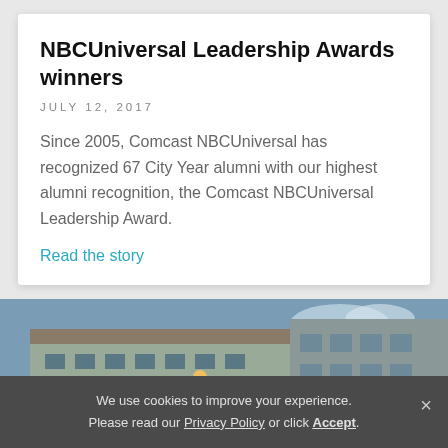NBCUniversal Leadership Awards winners
JULY 12, 2017
Since 2005, Comcast NBCUniversal has recognized 67 City Year alumni with our highest alumni recognition, the Comcast NBCUniversal Leadership Award.
Read the story
[Figure (photo): Outdoor school building scene with students walking outside a two-story building with columns and covered walkway; another building with mural visible on right side.]
We use cookies to improve your experience. Please read our Privacy Policy or click Accept.